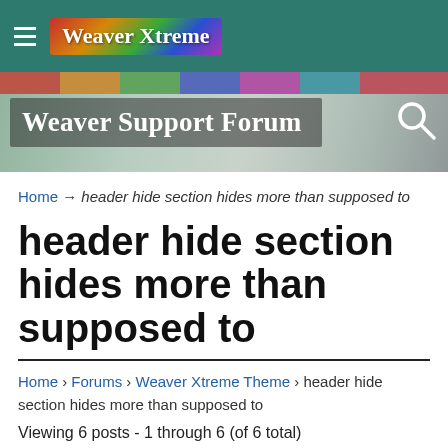Weaver Xtreme (logo/nav bar)
[Figure (screenshot): Weaver Support Forum banner header with colorful texture background and search icon]
Home → header hide section hides more than supposed to
header hide section hides more than supposed to
Home › Forums › Weaver Xtreme Theme › header hide section hides more than supposed to
Viewing 6 posts - 1 through 6 (of 6 total)
| Author | Posts |
| --- | --- |
| March 29, 2015 at 11:47 UTC · Views: 1 |  |